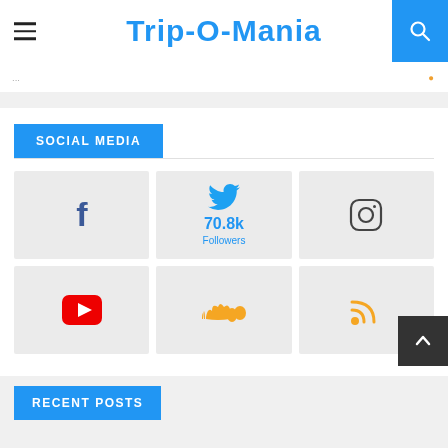Trip-O-Mania
SOCIAL MEDIA
[Figure (infographic): Social media links grid: Facebook, Twitter (70.8k Followers), Instagram (top row); YouTube, SoundCloud, RSS (bottom row)]
RECENT POSTS